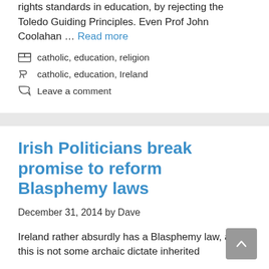rights standards in education, by rejecting the Toledo Guiding Principles. Even Prof John Coolahan … Read more
Categories: catholic, education, religion
Tags: catholic, education, Ireland
Leave a comment
Irish Politicians break promise to reform Blasphemy laws
December 31, 2014 by Dave
Ireland rather absurdly has a Blasphemy law, and this is not some archaic dictate inherited